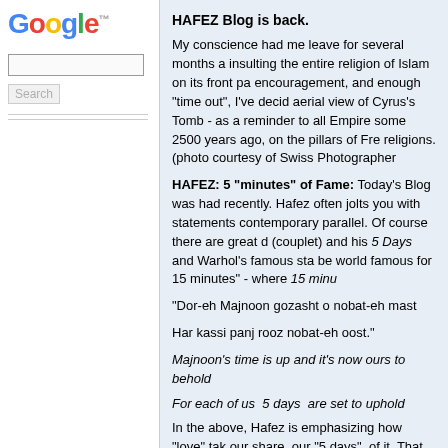[Figure (logo): Google logo with trademark symbol]
[Figure (screenshot): Google search input box]
[Figure (screenshot): Google Search button]
HAFEZ Blog is back.
My conscience had me leave for several months a insulting the entire religion of Islam on its front pa encouragement, and enough "time out", I've decid aerial view of Cyrus's Tomb - as a reminder to all Empire some 2500 years ago, on the pillars of Fre religions. (photo courtesy of Swiss Photographer
HAFEZ: 5 "minutes" of Fame: Today's Blog was had recently. Hafez often jolts you with statements contemporary parallel. Of course there are great d (couplet) and his 5 Days and Warhol's famous sta be world famous for 15 minutes" - where 15 minu
"Dor-eh Majnoon gozasht o nobat-eh mast
Har kassi panj rooz nobat-eh oost."
Majnoon's time is up and it's now ours to behold
For each of us  5 days  are set to uphold
In the above, Hafez is emphasizing how "love" tak our share, our "5 days", of it. That Majnoun (of the fame), that Majnoon's time is up, and it's our turn. behold, your moments of connection, and the con such connectivity is often passing.  The rest of the of his Beloved. With Andy Warhol - his quote also destined to have our own "15 minutes" -- The quo Stockholm, Sweden. To me, it's always sounded li